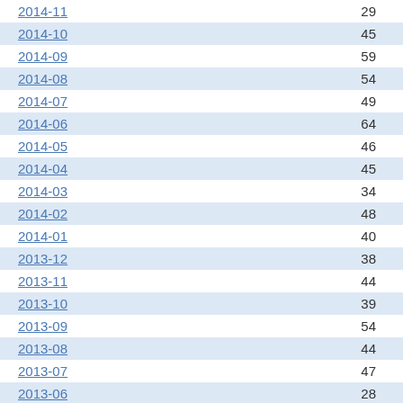| Date | Value |
| --- | --- |
| 2014-11 | 29 |
| 2014-10 | 45 |
| 2014-09 | 59 |
| 2014-08 | 54 |
| 2014-07 | 49 |
| 2014-06 | 64 |
| 2014-05 | 46 |
| 2014-04 | 45 |
| 2014-03 | 34 |
| 2014-02 | 48 |
| 2014-01 | 40 |
| 2013-12 | 38 |
| 2013-11 | 44 |
| 2013-10 | 39 |
| 2013-09 | 54 |
| 2013-08 | 44 |
| 2013-07 | 47 |
| 2013-06 | 28 |
| 2013-05 | 49 |
| 2013-04 | 21 |
| 2013-03 | 36 |